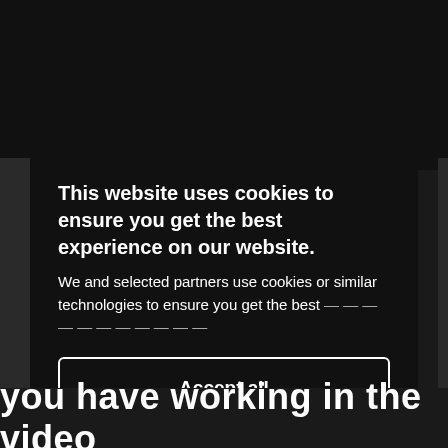[Figure (screenshot): Cookie consent modal overlay on a dark website background. The modal has a black background with white text and two buttons: 'Accept all' and 'Disable all', plus a teal 'Cookie preferences' link.]
This website uses cookies to ensure you get the best experience on our website.
We and selected partners use cookies or similar technologies to ensure you get the best [text continues/truncated]
Accept all
Disable all
Cookie preferences
you have working in the video